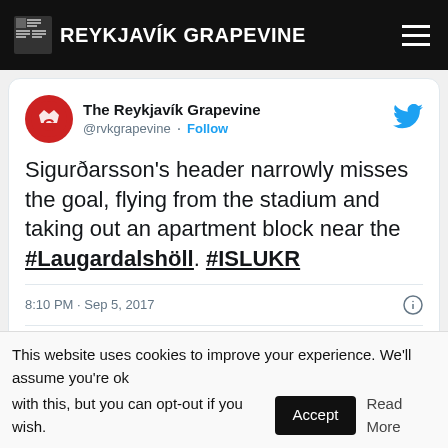THE G REYKJAVÍK GRAPEVINE
[Figure (screenshot): Embedded tweet from The Reykjavik Grapevine (@rvkgrapevine) reading: Sigurðarsson's header narrowly misses the goal, flying from the stadium and taking out an apartment block near the #Laugardalshöll. #ISLUKR — posted 8:10 PM · Sep 5, 2017 — 28 likes, Reply, Copy link, Read 2 replies]
This website uses cookies to improve your experience. We'll assume you're ok with this, but you can opt-out if you wish.